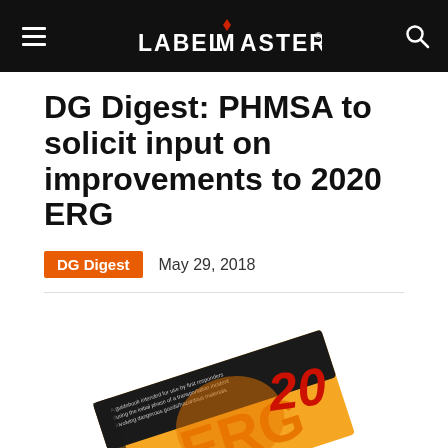LABELMASTER
DG Digest: PHMSA to solicit input on improvements to 2020 ERG
DG Digest   May 29, 2018
[Figure (photo): Photo of an orange and black ERG (Emergency Response Guidebook) with the number 20 handwritten in red next to it, with guidebook text reading: A guidebook intended for use by first responders during the initial phase of a transportation incident involving dangerous goods/hazardous materials]